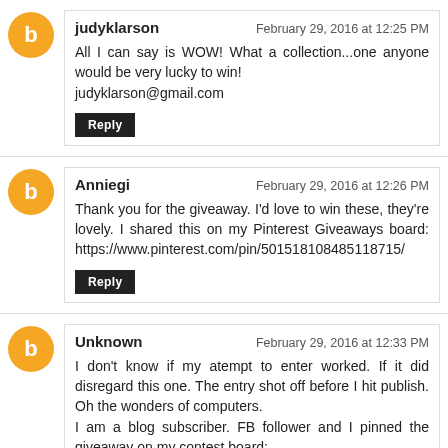judyklarson — February 29, 2016 at 12:25 PM
All I can say is WOW! What a collection...one anyone would be very lucky to win!
judyklarson@gmail.com
[Reply]
Anniegi — February 29, 2016 at 12:26 PM
Thank you for the giveaway. I'd love to win these, they're lovely. I shared this on my Pinterest Giveaways board: https://www.pinterest.com/pin/501518108485118715/
[Reply]
Unknown — February 29, 2016 at 12:33 PM
I don't know if my atempt to enter worked. If it did disregard this one. The entry shot off before I hit publish. Oh the wonders of computers.
I am a blog subscriber. FB follower and I pinned the giveaway on my contest board: